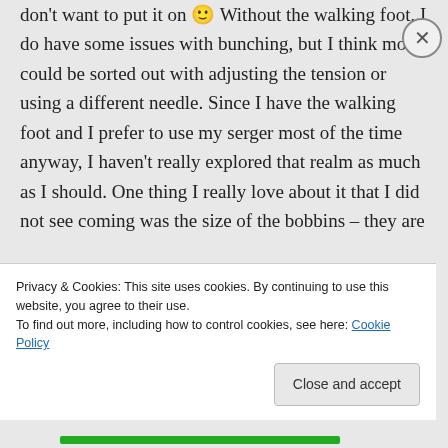don't want to put it on 🙂 Without the walking foot, I do have some issues with bunching, but I think most could be sorted out with adjusting the tension or using a different needle. Since I have the walking foot and I prefer to use my serger most of the time anyway, I haven't really explored that realm as much as I should. One thing I really love about it that I did not see coming was the size of the bobbins – they are HUGE
Privacy & Cookies: This site uses cookies. By continuing to use this website, you agree to their use.
To find out more, including how to control cookies, see here: Cookie Policy
Close and accept